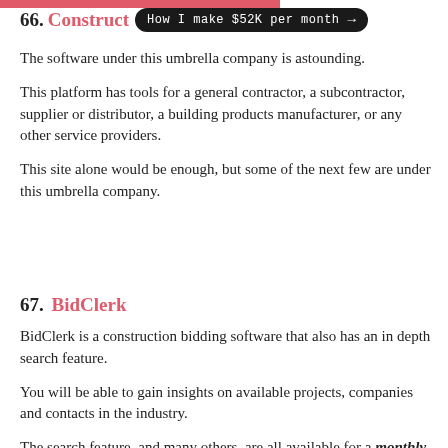66. Construction [How I make $52K per month →]
The software under this umbrella company is astounding.
This platform has tools for a general contractor, a subcontractor, supplier or distributor, a building products manufacturer, or any other service providers.
This site alone would be enough, but some of the next few are under this umbrella company.
67. BidClerk
BidClerk is a construction bidding software that also has an in depth search feature.
You will be able to gain insights on available projects, companies and contacts in the industry.
The search feature, and many others, are all available for a monthly subscription price.